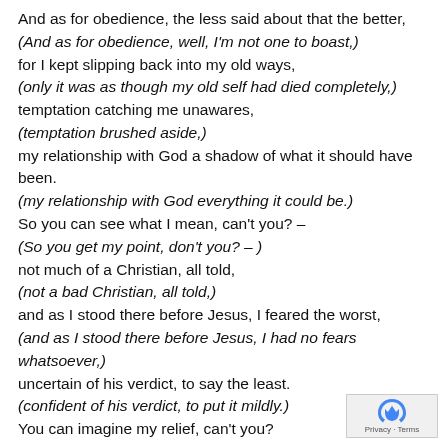And as for obedience, the less said about that the better,
(And as for obedience, well, I'm not one to boast,)
for I kept slipping back into my old ways,
(only it was as though my old self had died completely,)
temptation catching me unawares,
(temptation brushed aside,)
my relationship with God a shadow of what it should have been.
(my relationship with God everything it could be.)
So you can see what I mean, can't you? –
(So you get my point, don't you? – )
not much of a Christian, all told,
(not a bad Christian, all told,)
and as I stood there before Jesus, I feared the worst,
(and as I stood there before Jesus, I had no fears whatsoever,)
uncertain of his verdict, to say the least.
(confident of his verdict, to put it mildly.)
You can imagine my relief, can't you?